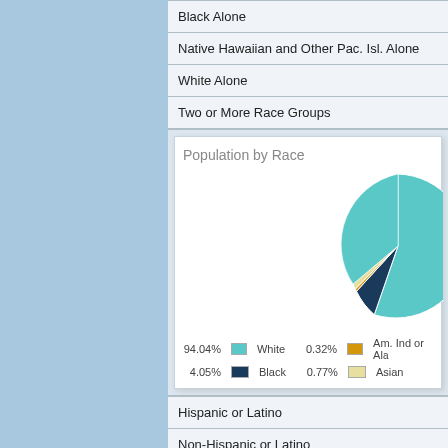Black Alone
Native Hawaiian and Other Pac. Isl. Alone
White Alone
Two or More Race Groups
[Figure (pie-chart): Population by Race]
Hispanic or Latino
Non-Hispanic or Latino
Hispanic or Latino